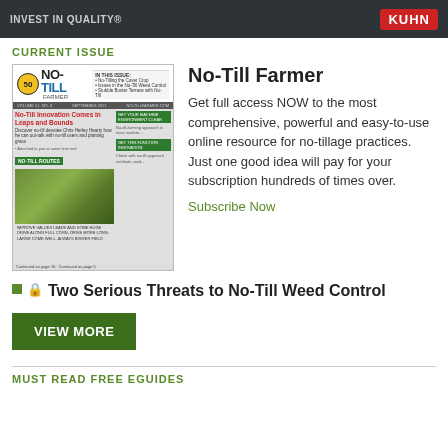[Figure (logo): Dark banner with INVEST IN QUALITY text and KUHN red logo]
CURRENT ISSUE
[Figure (photo): Thumbnail image of No-Till Farmer magazine cover, September issue, showing No-Till Innovation article and farm field photo]
No-Till Farmer
Get full access NOW to the most comprehensive, powerful and easy-to-use online resource for no-tillage practices. Just one good idea will pay for your subscription hundreds of times over.
Subscribe Now
Two Serious Threats to No-Till Weed Control
VIEW MORE
MUST READ FREE EGUIDES